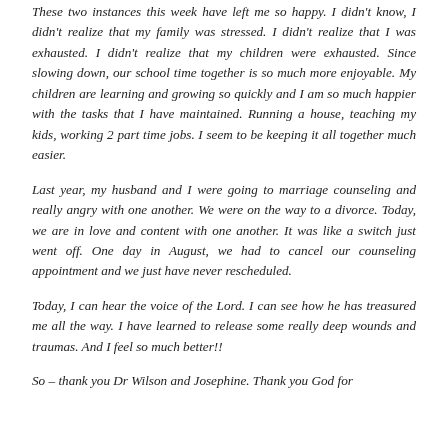These two instances this week have left me so happy. I didn't know, I didn't realize that my family was stressed. I didn't realize that I was exhausted. I didn't realize that my children were exhausted. Since slowing down, our school time together is so much more enjoyable. My children are learning and growing so quickly and I am so much happier with the tasks that I have maintained. Running a house, teaching my kids, working 2 part time jobs. I seem to be keeping it all together much easier.
Last year, my husband and I were going to marriage counseling and really angry with one another. We were on the way to a divorce. Today, we are in love and content with one another. It was like a switch just went off. One day in August, we had to cancel our counseling appointment and we just have never rescheduled.
Today, I can hear the voice of the Lord. I can see how he has treasured me all the way. I have learned to release some really deep wounds and traumas. And I feel so much better!!
So – thank you Dr Wilson and Josephine. Thank you God for